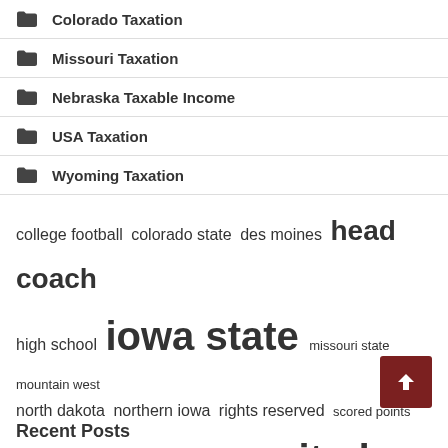Colorado Taxation
Missouri Taxation
Nebraska Taxable Income
USA Taxation
Wyoming Taxation
college football  colorado state  des moines  head coach  high school  iowa state  missouri state  mountain west  north dakota  northern iowa  rights reserved  scored points  south dakota  st louis  united states
Recent Posts